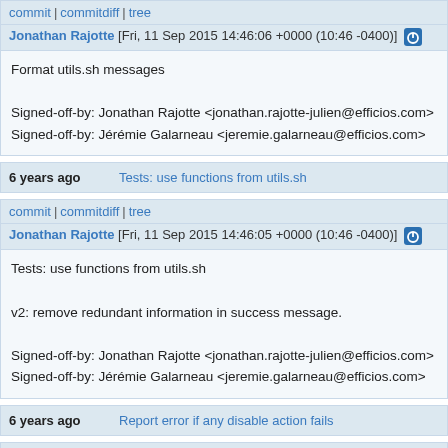commit | commitdiff | tree
Jonathan Rajotte [Fri, 11 Sep 2015 14:46:06 +0000 (10:46 -0400)]
Format utils.sh messages

Signed-off-by: Jonathan Rajotte <jonathan.rajotte-julien@efficios.com>
Signed-off-by: Jérémie Galarneau <jeremie.galarneau@efficios.com>
6 years ago   Tests: use functions from utils.sh
commit | commitdiff | tree
Jonathan Rajotte [Fri, 11 Sep 2015 14:46:05 +0000 (10:46 -0400)]
Tests: use functions from utils.sh

v2: remove redundant information in success message.

Signed-off-by: Jonathan Rajotte <jonathan.rajotte-julien@efficios.com>
Signed-off-by: Jérémie Galarneau <jeremie.galarneau@efficios.com>
6 years ago   Report error if any disable action fails
commit | commitdiff | tree